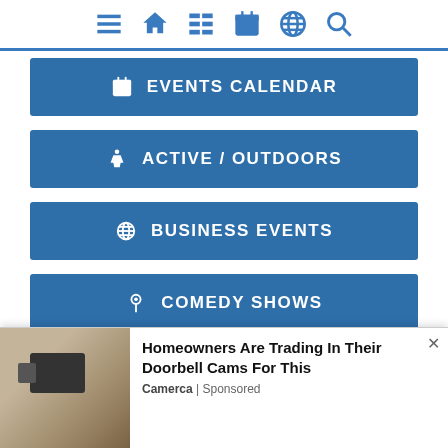[Figure (screenshot): Website navigation bar with icons: hamburger menu, home, grid/list, calendar, globe, search]
EVENTS CALENDAR
ACTIVE / OUTDOORS
BUSINESS EVENTS
COMEDY SHOWS
CREATIVE / CLASSES
DOG FRIENDLY EVENTS
[Figure (photo): Outdoor security camera mounted on stone wall]
Homeowners Are Trading In Their Doorbell Cams For This
Camerca | Sponsored